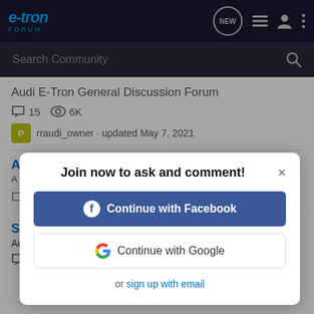e-tron FORUM
Search Community
Audi E-Tron General Discussion Forum
15  6K
rraudi_owner · updated May 7, 2021
Join now to ask and comment!
Continue with Facebook
Continue with Google
or sign up with email
Subscription question
Audi E-Tron GT General Discussion Forum
29  2K